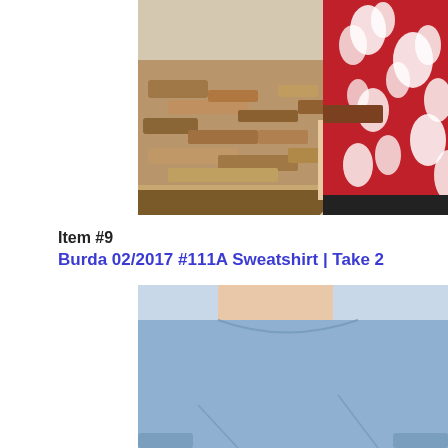[Figure (photo): Person wearing a red and white floral shirt standing outdoors near a woodpile]
Item #9
Burda 02/2017 #111A Sweatshirt | Take 2
[Figure (photo): Person wearing a light blue sweatshirt outdoors near water and mountains]